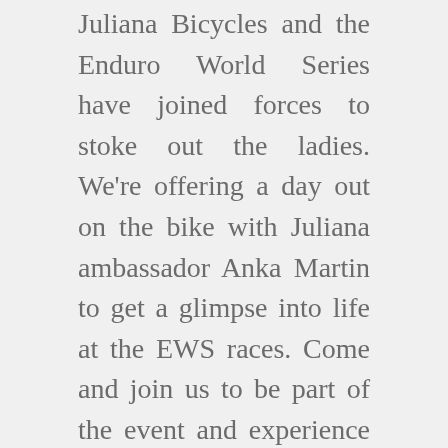Juliana Bicycles and the Enduro World Series have joined forces to stoke out the ladies. We're offering a day out on the bike with Juliana ambassador Anka Martin to get a glimpse into life at the EWS races. Come and join us to be part of the event and experience the vibe without any of the pressure to race.
We didn't forget the kids.  On Friday afternoon, we will have a kids only ride through some of the Green Trails in Blue Derby Mountain Bike Park. There are lots of cool giveaways and each kid will receive a Enduro World Series “Shredder” keyring!
On Saturday you can entering the Challenge Tasmania event (it's much easier than it